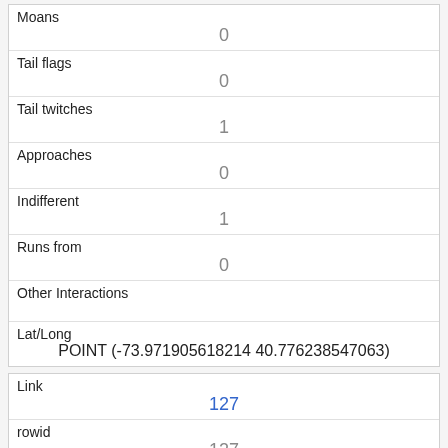| Moans | 0 |
| Tail flags | 0 |
| Tail twitches | 1 |
| Approaches | 0 |
| Indifferent | 1 |
| Runs from | 0 |
| Other Interactions |  |
| Lat/Long | POINT (-73.971905618214 40.776238547063) |
| Link | 127 |
| rowid | 127 |